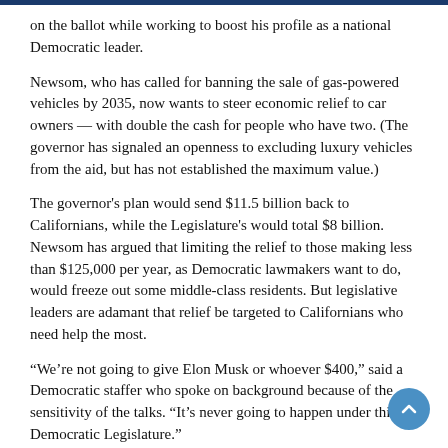on the ballot while working to boost his profile as a national Democratic leader.
Newsom, who has called for banning the sale of gas-powered vehicles by 2035, now wants to steer economic relief to car owners — with double the cash for people who have two. (The governor has signaled an openness to excluding luxury vehicles from the aid, but has not established the maximum value.)
The governor's plan would send $11.5 billion back to Californians, while the Legislature's would total $8 billion. Newsom has argued that limiting the relief to those making less than $125,000 per year, as Democratic lawmakers want to do, would freeze out some middle-class residents. But legislative leaders are adamant that relief be targeted to Californians who need help the most.
“We’re not going to give Elon Musk or whoever $400,” said a Democratic staffer who spoke on background because of the sensitivity of the talks. “It’s never going to happen under this Democratic Legislature.”
Lawmakers want to link the aid to individuals, with additional relief for dependents — $400 for a family of two, $1,000 for a family of five. Newsom has never budged from his public stance that it should be tied to car ownership, offering $400 per vehicle.
Another sticking point is over how to get the money out. Newsom has argued going through the Department of Motor Vehicles would be swifter than relying on